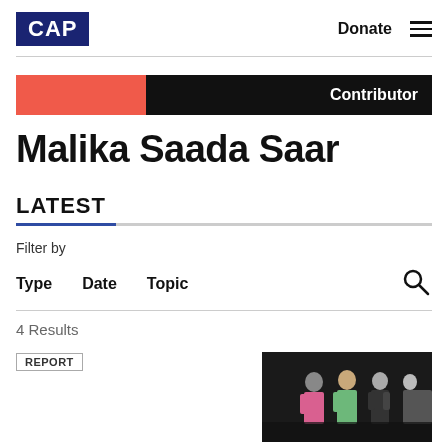CAP  Donate ≡
Contributor
Malika Saada Saar
LATEST
Filter by
Type  Date  Topic
4 Results
REPORT
[Figure (photo): Photo of people standing, showing figures in pink, green, and dark clothing against a dark background]